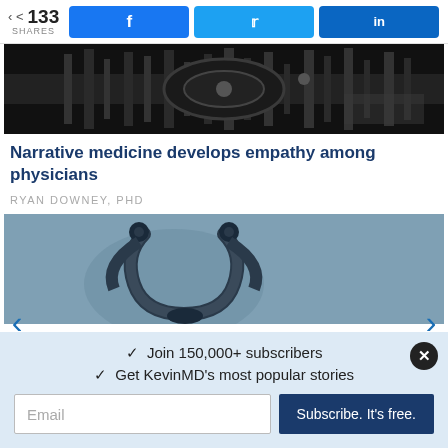133 SHARES | Facebook | Twitter | LinkedIn
[Figure (photo): Dark close-up photograph of mechanical gears or metal machinery parts in black and white]
Narrative medicine develops empathy among physicians
RYAN DOWNEY, PHD
[Figure (photo): Close-up photograph of a stethoscope on a gray surface]
✓ Join 150,000+ subscribers
✓ Get KevinMD's most popular stories
Email | Subscribe. It's free.